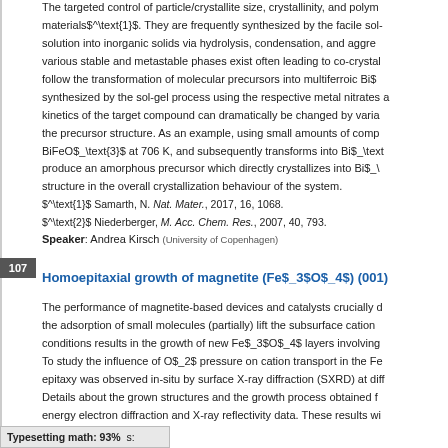The targeted control of particle/crystallite size, crystallinity, and polymorphism is crucial for functional materials$^\text{1}$. They are frequently synthesized by the facile sol-gel process, which transforms solution into inorganic solids via hydrolysis, condensation, and aggregation of metal-organic precursors. As various stable and metastable phases exist often leading to co-crystallization, it is of great interest to follow the transformation of molecular precursors into multiferroic BiS_\text compounds. Gels were synthesized by the sol-gel process using the respective metal nitrates as precursors. The crystallization kinetics of the target compound can dramatically be changed by variation of the water content and hence the precursor structure. As an example, using small amounts of complex precursor, a gel first crystallizes into BiFeOS_\text{3}$ at 706 K, and subsequently transforms into BiS_\text... produce an amorphous precursor which directly crystallizes into BiS_\... structure in the overall crystallization behaviour of the system.
$^\text{1}$ Samarth, N. Nat. Mater., 2017, 16, 1068.
$^\text{2}$ Niederberger, M. Acc. Chem. Res., 2007, 40, 793.
Speaker: Andrea Kirsch (University of Copenhagen)
Homoepitaxial growth of magnetite (FeS_3$OS_4$) (001)
The performance of magnetite-based devices and catalysts crucially d... the adsorption of small molecules (partially) lift the subsurface cation... conditions results in the growth of new FeS_3$OS_4$ layers involving ... To study the influence of OS_2$ pressure on cation transport in the Fe... epitaxy was observed in-situ by surface X-ray diffraction (SXRD) at diff... Details about the grown structures and the growth process obtained f... energy electron diffraction and X-ray reflectivity data. These results wi...
Typesetting math: 93%